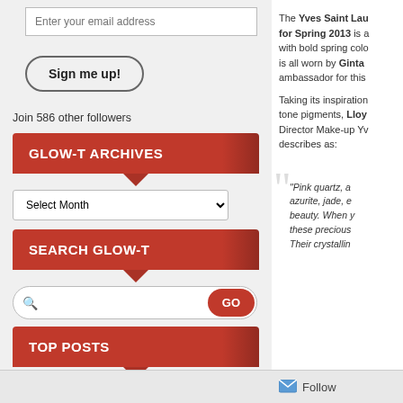Enter your email address
Sign me up!
Join 586 other followers
GLOW-T ARCHIVES
Select Month
SEARCH GLOW-T
GO
TOP POSTS
About
The Yves Saint Lau for Spring 2013 is a with bold spring colo is all worn by Ginta ambassador for this
Taking its inspiration tone pigments, Lloyd Director Make-up Yv describes as:
“Pink quartz, a azurite, jade, e beauty. When y these precious Their crystallin
Follow